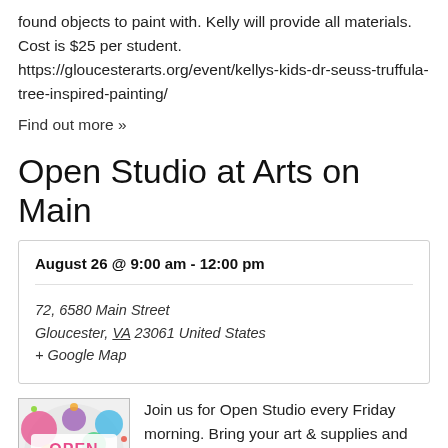found objects to paint with. Kelly will provide all materials. Cost is $25 per student. https://gloucesterarts.org/event/kellys-kids-dr-seuss-truffula-tree-inspired-painting/
Find out more »
Open Studio at Arts on Main
| August 26 @ 9:00 am - 12:00 pm |
| 72, 6580 Main Street
Gloucester, VA 23061 United States
+ Google Map |
[Figure (photo): Open Studio colorful paint splatter logo with text 'OPEN STUDIO']
Join us for Open Studio every Friday morning. Bring your art & supplies and paint from 9 a.m.-